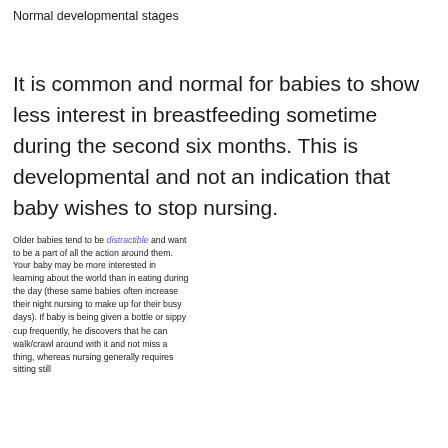Normal developmental stages
It is common and normal for babies to show less interest in breastfeeding sometime during the second six months. This is developmental and not an indication that baby wishes to stop nursing.
Older babies tend to be distractible and want to be a part of all the action around them. Your baby may be more interested in learning about the world than in eating during the day (these same babies often increase their night nursing to make up for their busy days). If baby is being given a bottle or sippy cup frequently, he discovers that he can walk/crawl around with it and not miss a thing, whereas nursing generally requires sitting still